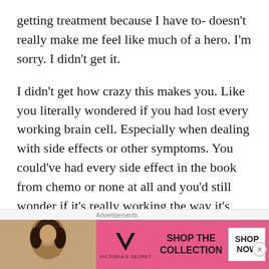getting treatment because I have to- doesn't really make me feel like much of a hero. I'm sorry. I didn't get it.
I didn't get how crazy this makes you. Like you literally wondered if you had lost every working brain cell. Especially when dealing with side effects or other symptoms. You could've had every side effect in the book from chemo or none at all and you'd still wonder if it's really working the way it's supposed to. You may just
[Figure (other): Victoria's Secret advertisement banner with model photo, VS logo, 'SHOP THE COLLECTION' text, and 'SHOP NOW' button on pink background]